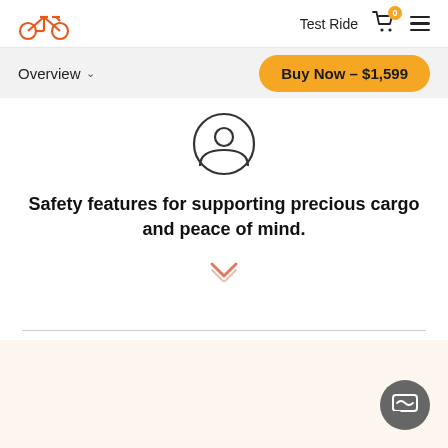Bike logo | Test Ride | Cart (0) | Menu
Overview
Buy Now - $1,599
[Figure (illustration): Person/user icon — circle with silhouette of a person, outline style]
Safety features for supporting precious cargo and peace of mind.
[Figure (illustration): Orange/salmon chevron pointing downward]
[Figure (illustration): Gray chat/message bubble button in bottom right corner]